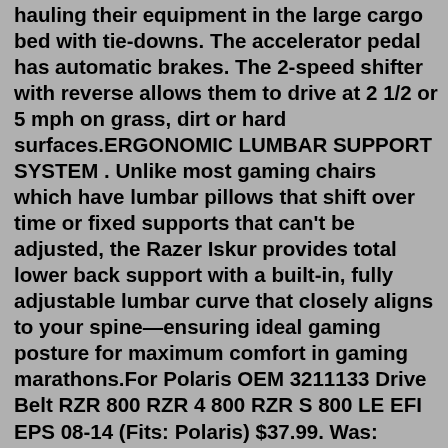hauling their equipment in the large cargo bed with tie-downs. The accelerator pedal has automatic brakes. The 2-speed shifter with reverse allows them to drive at 2 1/2 or 5 mph on grass, dirt or hard surfaces.ERGONOMIC LUMBAR SUPPORT SYSTEM . Unlike most gaming chairs which have lumbar pillows that shift over time or fixed supports that can't be adjusted, the Razer Iskur provides total lower back support with a built-in, fully adjustable lumbar curve that closely aligns to your spine—ensuring ideal gaming posture for maximum comfort in gaming marathons.For Polaris OEM 3211133 Drive Belt RZR 800 RZR 4 800 RZR S 800 LE EFI EPS 08-14 (Fits: Polaris) $37.99. Was: $42.99. POLARIS GENERAL 1000 & XP NEW PRIMARY & SECONDARY EBS REDUCED CLUTCH & PULLER (Fits: Polaris) $589.00. Free shipping. or Best Offer. 127 sold. Polaris Ranger RZR Sportsman Body Torx Screw Bolt (Set of 6) 7518280.STD Belt. 2011-2014 XP 900 All models 2014-2020 XP 1000 All